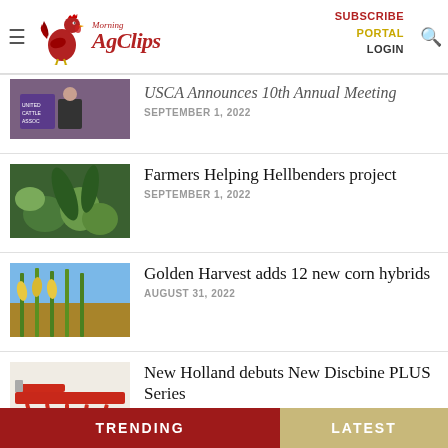Morning AgClips — SUBSCRIBE PORTAL LOGIN
USCA Announces 10th Annual Meeting — SEPTEMBER 1, 2022
Farmers Helping Hellbenders project — SEPTEMBER 1, 2022
Golden Harvest adds 12 new corn hybrids — AUGUST 31, 2022
New Holland debuts New Discbine PLUS Series — AUGUST 31, 2022
TRENDING   LATEST